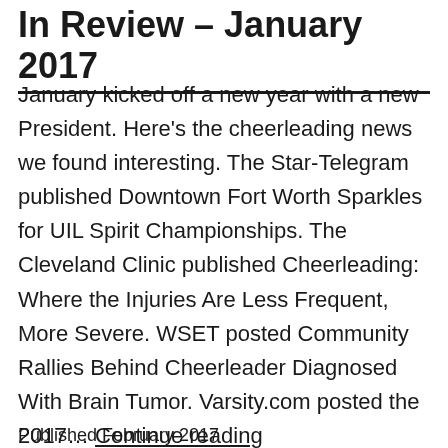In Review – January 2017
January kicked off a new year with a new President. Here's the cheerleading news we found interesting. The Star-Telegram published Downtown Fort Worth Sparkles for UIL Spirit Championships. The Cleveland Clinic published Cheerleading: Where the Injuries Are Less Frequent, More Severe. WSET posted Community Rallies Behind Cheerleader Diagnosed With Brain Tumor. Varsity.com posted the 2017… Continue reading
Published February 2017